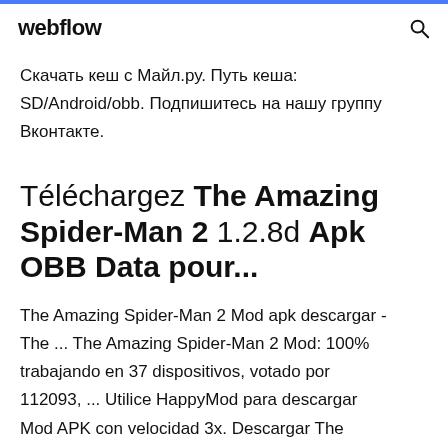webflow
Скачать кеш с Майл.ру. Путь кеша: SD/Android/obb. Подпишитесь на нашу группу Вконтакте.
Téléchargez The Amazing Spider-Man 2 1.2.8d Apk OBB Data pour...
The Amazing Spider-Man 2 Mod apk descargar - The ... The Amazing Spider-Man 2 Mod: 100% trabajando en 37 dispositivos, votado por 112093, ... Utilice HappyMod para descargar Mod APK con velocidad 3x. Descargar The Amazing Spider-Man 21.2.8d Apk Data...